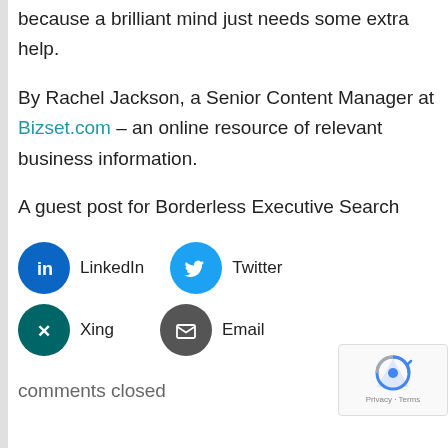because a brilliant mind just needs some extra help.
By Rachel Jackson, a Senior Content Manager at Bizset.com – an online resource of relevant business information.
A guest post for Borderless Executive Search
[Figure (infographic): Social share buttons: LinkedIn (blue circle with 'in' icon), Twitter (light blue circle with bird icon), Xing (dark teal circle with X icon), Email (dark grey circle with envelope icon)]
comments closed